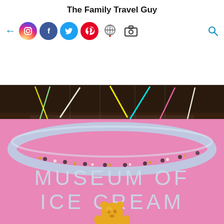The Family Travel Guy
[Figure (photo): Interior of the Museum of Ice Cream. Pink walls with large 'MUSEUM OF ICE CREAM' text in light blue letters. A large golden gummy bear sculpture sits at the bottom center. Above, a circular ring installation with lights hangs from the ceiling. The ceiling area shows colorful neon light sticks hanging diagonally. Dark industrial ceiling architecture visible at the top.]